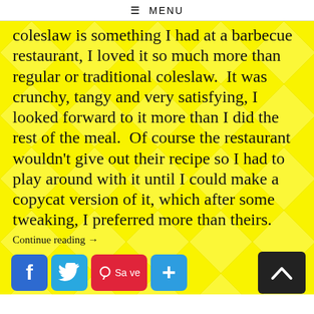≡ MENU
coleslaw is something I had at a barbecue restaurant, I loved it so much more than regular or traditional coleslaw.  It was crunchy, tangy and very satisfying, I looked forward to it more than I did the rest of the meal.  Of course the restaurant wouldn't give out their recipe so I had to play around with it until I could make a copycat version of it, which after some tweaking, I preferred more than theirs.
Continue reading →
[Figure (other): Social sharing buttons: Facebook, Twitter, Pinterest Save, and a plus/more button. Back-to-top arrow button on the right.]
Posted in Salads & Slaws, Coleslaw, Recipes   Tagged Clean Eating, Dairy Free, Gluten Free, Heart Healthy, Lactose Free,